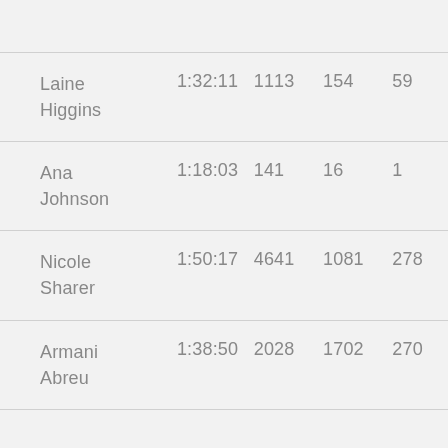| Laine Higgins | 1:32:11 | 1113 | 154 | 59 |
| Ana Johnson | 1:18:03 | 141 | 16 | 1 |
| Nicole Sharer | 1:50:17 | 4641 | 1081 | 278 |
| Armani Abreu | 1:38:50 | 2028 | 1702 | 270 |